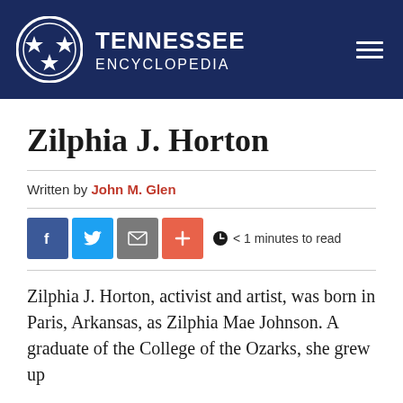TENNESSEE ENCYCLOPEDIA
Zilphia J. Horton
Written by John M. Glen
[Figure (infographic): Social share buttons: Facebook (blue), Twitter (light blue), Email (gray), Plus/share (orange-red); reading time icon with text: < 1 minutes to read]
Zilphia J. Horton, activist and artist, was born in Paris, Arkansas, as Zilphia Mae Johnson. A graduate of the College of the Ozarks, she grew up